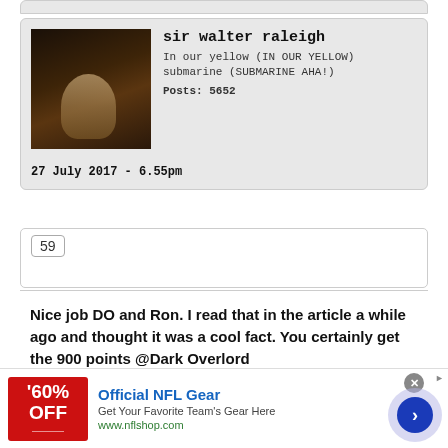sir walter raleigh
In our yellow (IN OUR YELLOW) submarine (SUBMARINE AHA!)
Posts: 5652
27 July 2017 - 6.55pm
59
Nice job DO and Ron. I read that in the article a while ago and thought it was a cool fact. You certainly get the 900 points @Dark Overlord
[Figure (infographic): Advertisement banner: 60% OFF Official NFL Gear - Get Your Favorite Team's Gear Here - www.nflshop.com]